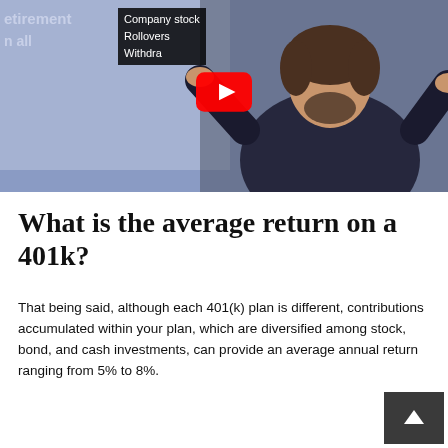[Figure (screenshot): YouTube video thumbnail showing a man with a beard in a dark shirt with hands raised, standing in front of a presentation slide that shows text including 'retirement', 'Company stock', 'Rollovers', 'Withdrawals', 'on all'. A red YouTube play button is overlaid in the center.]
What is the average return on a 401k?
That being said, although each 401(k) plan is different, contributions accumulated within your plan, which are diversified among stock, bond, and cash investments, can provide an average annual return ranging from 5% to 8%.